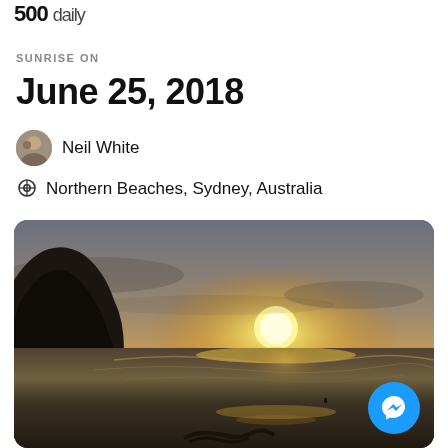500 daily
SUNRISE ON
June 25, 2018
Neil White
Northern Beaches, Sydney, Australia
[Figure (photo): Sunrise/sunset beach photo at Northern Beaches, Sydney, Australia. Silhouette of a rocky headland on the left, golden sun near the horizon reflecting on the ocean and wet beach sand, dark clouds above.]